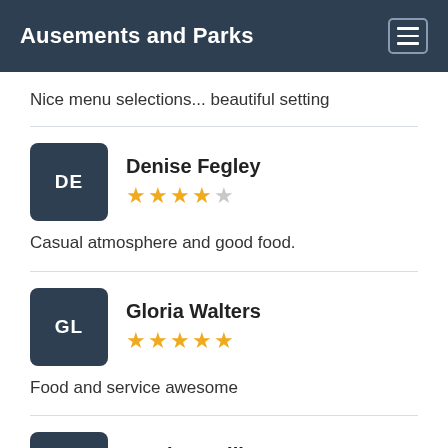Ausements and Parks
Nice menu selections... beautiful setting
Denise Fegley — 4 stars — Casual atmosphere and good food.
Gloria Walters — 5 stars — Food and service awesome
Matthew Gillaspy — 5 stars